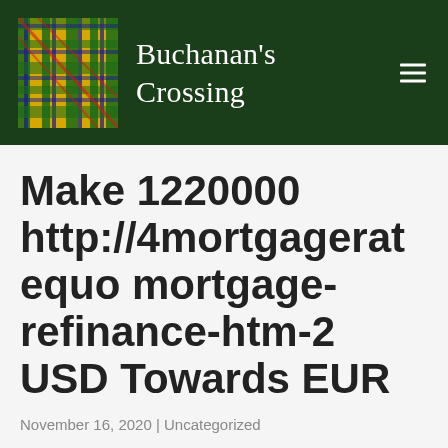Buchanan's Crossing
Make 1220000 http://4mortgageratequo mortgage-refinance-htm-2 USD Towards EUR
November 16, 2020 | Uncategorized